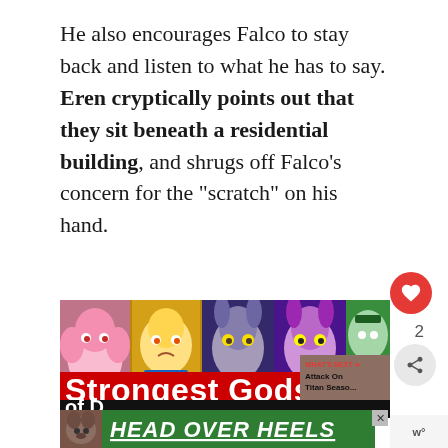He also encourages Falco to stay back and listen to what he has to say. Eren cryptically points out that they sit beneath a residential building, and shrugs off Falco’s concern for the “scratch” on his hand.
[Figure (screenshot): Anime screenshot collage showing several Dragon Ball gods/characters in different colored panels with red overlay text reading 'Strongest Gods' at the bottom]
[Figure (screenshot): Advertisement banner showing a dog and bold italic white text 'HEAD OVER HEELS' on a dark green background]